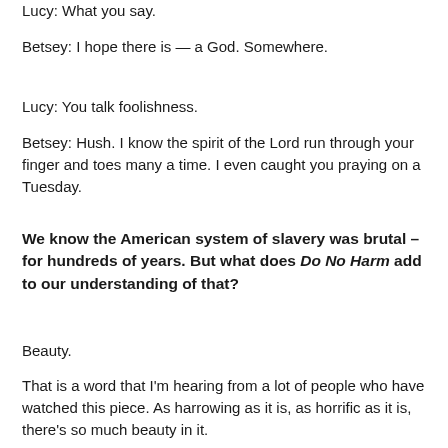Lucy: What you say.
Betsey: I hope there is — a God. Somewhere.
Lucy: You talk foolishness.
Betsey: Hush. I know the spirit of the Lord run through your finger and toes many a time. I even caught you praying on a Tuesday.
We know the American system of slavery was brutal – for hundreds of years. But what does Do No Harm add to our understanding of that?
Beauty.
That is a word that I'm hearing from a lot of people who have watched this piece. As harrowing as it is, as horrific as it is, there's so much beauty in it.